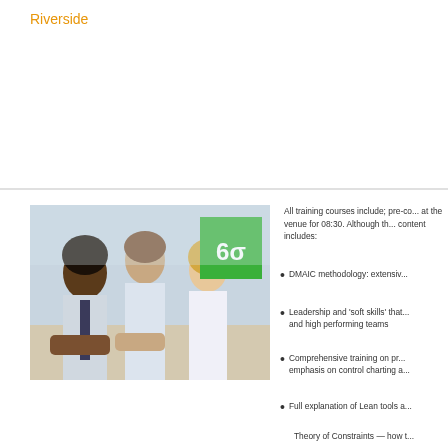Riverside
[Figure (photo): Three professionals sitting at a table in a training/meeting setting. A green badge with '6σ' text is overlaid in the top-right corner of the image.]
All training courses include; pre-co... at the venue for 08:30. Although th... content includes:
DMAIC methodology: extensiv...
Leadership and 'soft skills' that... and high performing teams
Comprehensive training on pro... emphasis on control charting a...
Full explanation of Lean tools a...
Theory of Constraints — how t...